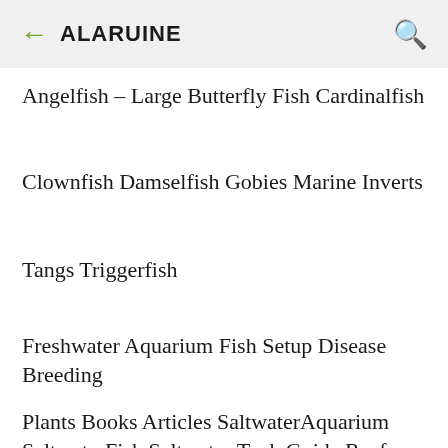ALARUINE
Angelfish - Large Butterfly Fish Cardinalfish
Clownfish Damselfish Gobies Marine Inverts
Tangs Triggerfish
Freshwater Aquarium Fish Setup Disease Breeding
Plants Books Articles SaltwaterAquarium SaltwaterFish Saltwater Tank Guide Reef Tank Setup